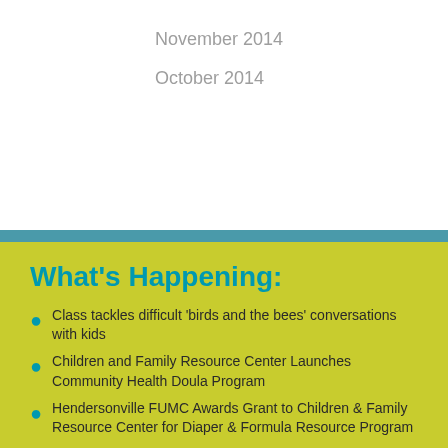November 2014
October 2014
What's Happening:
Class tackles difficult 'birds and the bees' conversations with kids
Children and Family Resource Center Launches Community Health Doula Program
Hendersonville FUMC Awards Grant to Children & Family Resource Center for Diaper & Formula Resource Program
Children and Family Resource Center